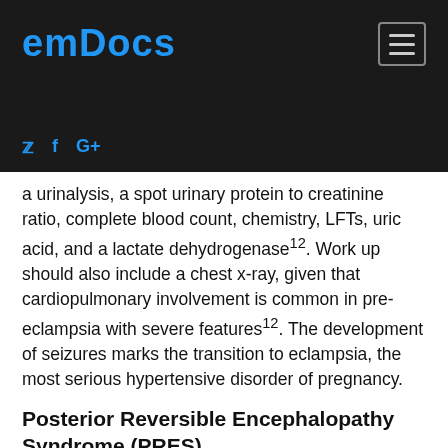emDocs
a urinalysis, a spot urinary protein to creatinine ratio, complete blood count, chemistry, LFTs, uric acid, and a lactate dehydrogenase12. Work up should also include a chest x-ray, given that cardiopulmonary involvement is common in pre-eclampsia with severe features12. The development of seizures marks the transition to eclampsia, the most serious hypertensive disorder of pregnancy.
Posterior Reversible Encephalopathy Syndrome (PRES)
Posterior reversible encephalopathy syndrome (PRES) is a reversible disorder of the parietal and occipital lobes that presents with headache, altered mental status, visual changes, and seizures. Though PRES is